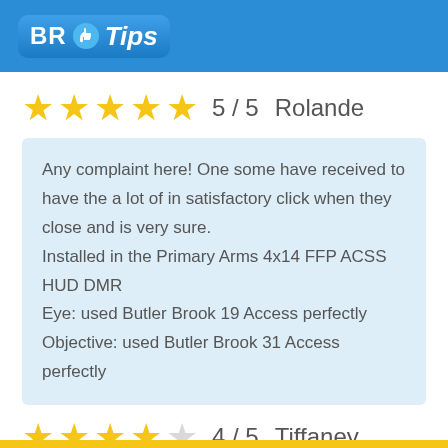[Figure (logo): BR Tips logo with thumbs up icon on blue background]
5 / 5   Rolande
Any complaint here! One some have received to have the a lot of in satisfactory click when they close and is very sure.
Installed in the Primary Arms 4x14 FFP ACSS HUD DMR
Eye: used Butler Brook 19 Access perfectly
Objective: used Butler Brook 31 Access perfectly
4 / 5   Tiffaney